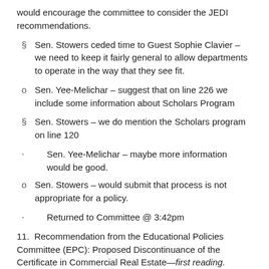would encourage the committee to consider the JEDI recommendations.
§  Sen. Stowers ceded time to Guest Sophie Clavier – we need to keep it fairly general to allow departments to operate in the way that they see fit.
o  Sen. Yee-Melichar – suggest that on line 226 we include some information about Scholars Program
§  Sen. Stowers – we do mention the Scholars program on line 120
·      Sen. Yee-Melichar – maybe more information would be good.
o  Sen. Stowers – would submit that process is not appropriate for a policy.
·      Returned to Committee @ 3:42pm
11.  Recommendation from the Educational Policies Committee (EPC): Proposed Discontinuance of the Certificate in Commercial Real Estate—first reading.
·      Sen. Stowers moved the item to the floor and spoke to the item.
·      Discussion